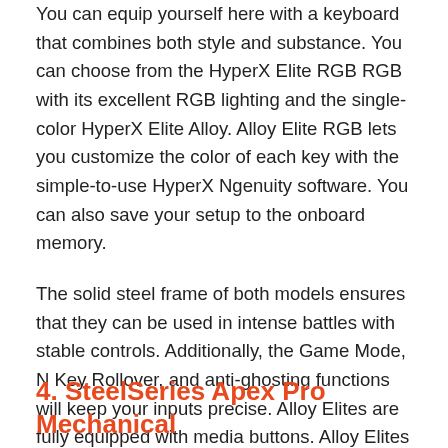You can equip yourself here with a keyboard that combines both style and substance. You can choose from the HyperX Elite RGB RGB with its excellent RGB lighting and the single-color HyperX Elite Alloy. Alloy Elite RGB lets you customize the color of each key with the simple-to-use HyperX Ngenuity software. You can also save your setup to the onboard memory.
The solid steel frame of both models ensures that they can be used in intense battles with stable controls. Additionally, the Game Mode, N Key Rollover, and anti-ghosting functions will keep your inputs precise. Alloy Elites are fully equipped with media buttons. Alloy Elites come with a detachable wrist rest and optional HyperX textured keycaps in titanium-colored to make it simple for you to observe the most important keys faster.
4. SteelSeries Apex Pro Mechanical